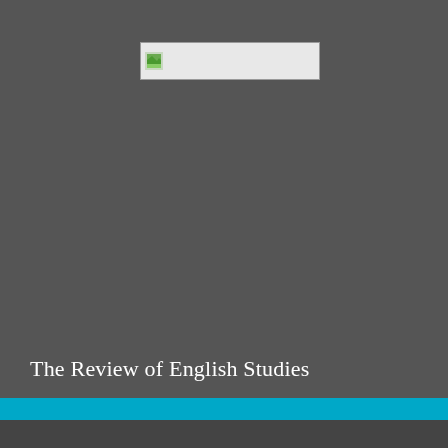[Figure (logo): Logo image placeholder box with broken image icon in top-left, light gray background with thin border]
The Review of English Studies